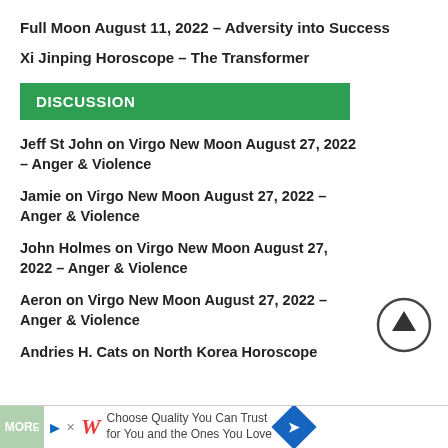Full Moon August 11, 2022 – Adversity into Success
Xi Jinping Horoscope – The Transformer
DISCUSSION
Jeff St John on Virgo New Moon August 27, 2022 – Anger & Violence
Jamie on Virgo New Moon August 27, 2022 – Anger & Violence
John Holmes on Virgo New Moon August 27, 2022 – Anger & Violence
Aeron on Virgo New Moon August 27, 2022 – Anger & Violence
Andries H. Cats on North Korea Horoscope
[Figure (other): Circular up-arrow scroll-to-top button icon]
Choose Quality You Can Trust for You and the Ones You Love